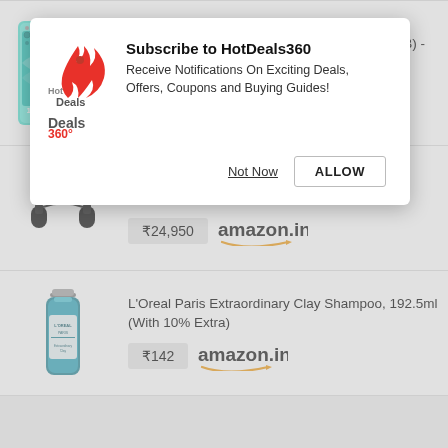[Figure (screenshot): HotDeals360 subscription modal popup with logo, title, description, and two buttons (Not Now, ALLOW)]
OnePlus Nord CE 2 Lite 5G (6GB RAM, 128GB) - Blue Tide
₹18,999  amazon.in
Sony WH-1000XM4 Wireless Bluetooth Headphones (Black)
₹24,950  amazon.in
L'Oreal Paris Extraordinary Clay Shampoo, 192.5ml (With 10% Extra)
₹142  amazon.in